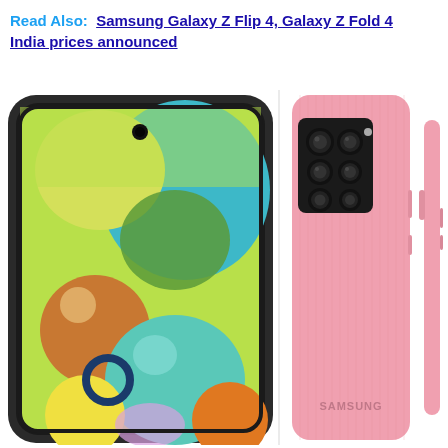Read Also: Samsung Galaxy Z Flip 4, Galaxy Z Fold 4 India prices announced
[Figure (photo): Samsung Galaxy A51 smartphone shown in pink color from three angles: front view showing the display with colorful wallpaper, rear view showing the quad camera module, and side view.]